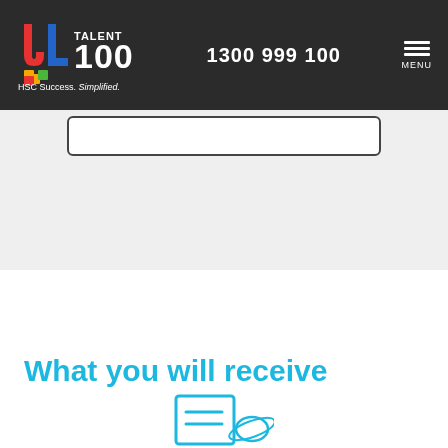Talent 100 | HSC Success. Simplified. | 1300 999 100 | MENU
[Figure (screenshot): White search input box with dark border on grey background]
What you will receive
[Figure (illustration): Blue outlined icon of a document with lines and a planet/ring symbol]